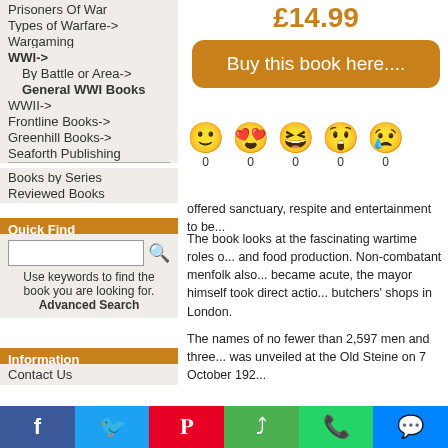Prisoners Of War
Types of Warfare->
Wargaming
WWI->
By Battle or Area->
General WWI Books
WWII->
Frontline Books->
Greenhill Books->
Seaforth Publishing
Books by Series
Reviewed Books
Quick Find
Use keywords to find the book you are looking for. Advanced Search
Information
Contact Us
£14.99
Buy this book here....
0  0  0  0  0
offered sanctuary, respite and entertainment to be...
The book looks at the fascinating wartime roles of... and food production. Non-combatant menfolk also... became acute, the mayor himself took direct action... butchers' shops in London.
The names of no fewer than 2,597 men and three... was unveiled at the Old Steine on 7 October 192...